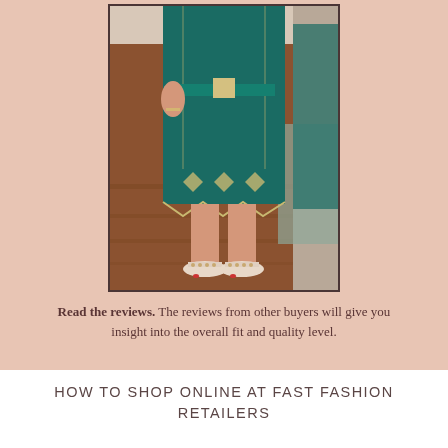[Figure (photo): A person wearing a teal/dark green embroidered midi dress with decorative geometric patterns at the hem, belted at the waist, paired with white studded sandals. The photo appears to be taken in a home setting with a mirror reflection visible.]
Read the reviews. The reviews from other buyers will give you insight into the overall fit and quality level.
HOW TO SHOP ONLINE AT FAST FASHION RETAILERS